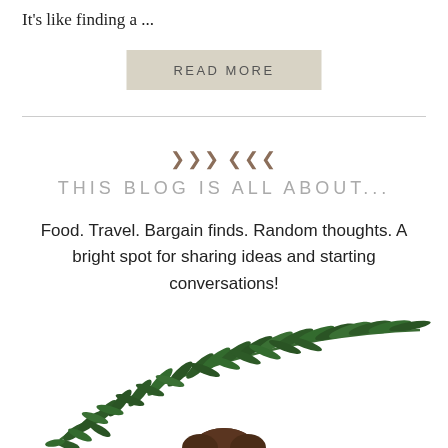It's like finding a ...
READ MORE
THIS BLOG IS ALL ABOUT...
Food. Travel. Bargain finds. Random thoughts. A bright spot for sharing ideas and starting conversations!
[Figure (illustration): Decorative illustration of green botanical wreath branches with a person's head partially visible at the bottom center]